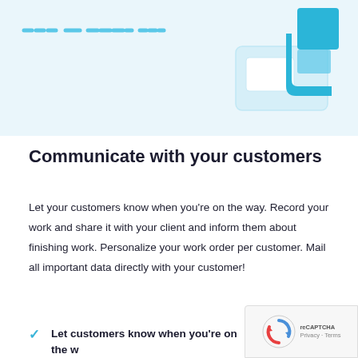[Figure (illustration): Top section showing a light blue background with dashed horizontal lines on the left and a teal/blue UI element (rounded rectangle with a square) in the upper right corner, resembling a scheduling or work order interface screenshot.]
Communicate with your customers
Let your customers know when you're on the way. Record your work and share it with your client and inform them about finishing work. Personalize your work order per customer. Mail all important data directly with your customer!
Let customers know when you're on the way
[Figure (logo): reCAPTCHA badge with circular arrow icon and Privacy · Terms text]